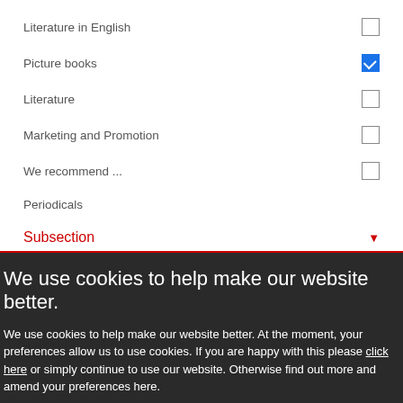Literature in English
Picture books
Literature
Marketing and Promotion
We recommend ...
Periodicals
Subsection
We use cookies to help make our website better.
We use cookies to help make our website better. At the moment, your preferences allow us to use cookies. If you are happy with this please click here or simply continue to use our website. Otherwise find out more and amend your preferences here.